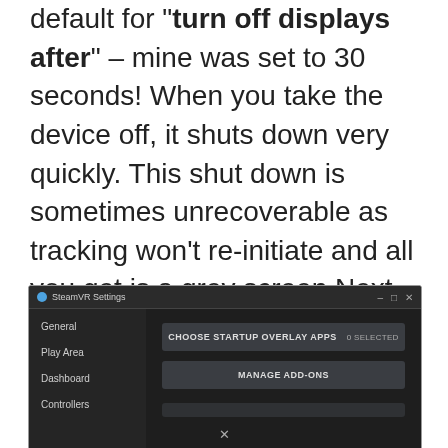default for "turn off displays after" – mine was set to 30 seconds! When you take the device off, it shuts down very quickly. This shut down is sometimes unrecoverable as tracking won't re-initiate and all you get is a grey screen.Next, we'll look at the Steam VR graphics options.
[Figure (screenshot): SteamVR Settings window showing sidebar with General, Play Area, Dashboard, Controllers options and main panel with CHOOSE STARTUP OVERLAY APPS (0 SELECTED) and MANAGE ADD-ONS buttons.]
×